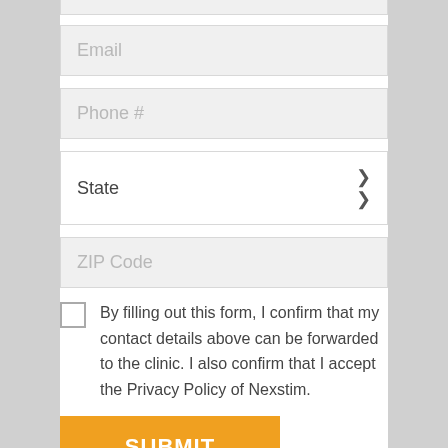[Figure (screenshot): Web form with Email, Phone #, State dropdown, ZIP Code fields, a checkbox consent statement, and a Submit button]
Email
Phone #
State
ZIP Code
By filling out this form, I confirm that my contact details above can be forwarded to the clinic. I also confirm that I accept the Privacy Policy of Nexstim.
SUBMIT